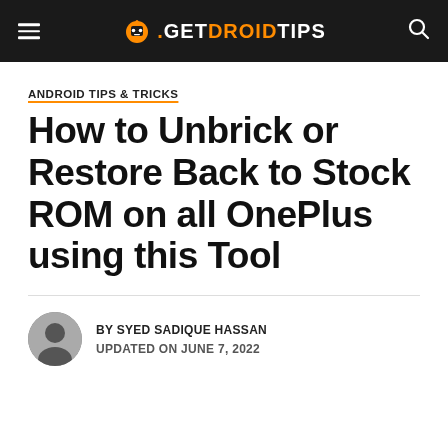GetDroidTips
ANDROID TIPS & TRICKS
How to Unbrick or Restore Back to Stock ROM on all OnePlus using this Tool
BY SYED SADIQUE HASSAN
UPDATED ON JUNE 7, 2022